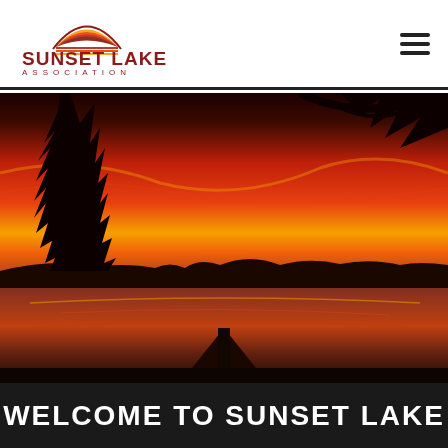[Figure (logo): Sunset Lake Association logo with sun/horizon graphic and text 'SUNSET LAKE ASSOCIATION']
[Figure (other): Hamburger menu icon (three horizontal lines)]
[Figure (photo): Dramatic sunset photo over a lake with silhouetted trees and a dock in the foreground, sky filled with vivid red and orange colors]
WELCOME TO SUNSET LAKE